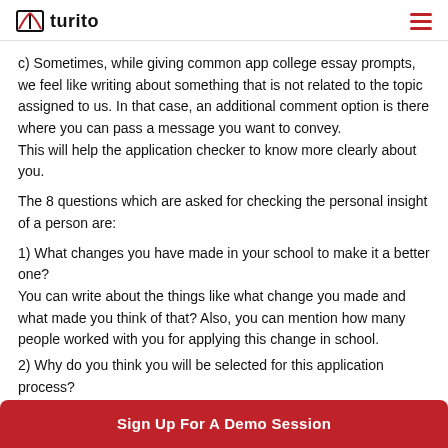turito
c) Sometimes, while giving common app college essay prompts, we feel like writing about something that is not related to the topic assigned to us. In that case, an additional comment option is there where you can pass a message you want to convey. This will help the application checker to know more clearly about you.
The 8 questions which are asked for checking the personal insight of a person are:
1) What changes you have made in your school to make it a better one? You can write about the things like what change you made and what made you think of that? Also, you can mention how many people worked with you for applying this change in school.
2) Why do you think you will be selected for this application process?
Sign Up For A Demo Session